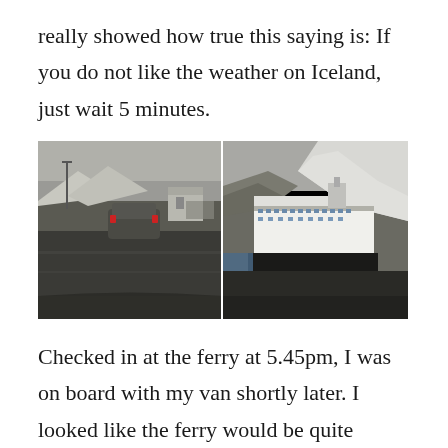really showed how true this saying is: If you do not like the weather on Iceland, just wait 5 minutes.
[Figure (photo): Two side-by-side photographs taken from inside a vehicle. Left photo shows a car driving ahead in a parking/port area with snow-capped mountains and overcast skies. Right photo shows a large ferry ship docked at a port with snow-covered mountains in the background.]
Checked in at the ferry at 5.45pm, I was on board with my van shortly later. I looked like the ferry would be quite empty again – besides a handful of cars, a number of buses and container trailers were loading. I expected to leave at 8pm – surprisingly the ship left 7pm. The ship schedule followed the official ship time which is Faroe time, so one hour ahead of Iceland now. Lucky